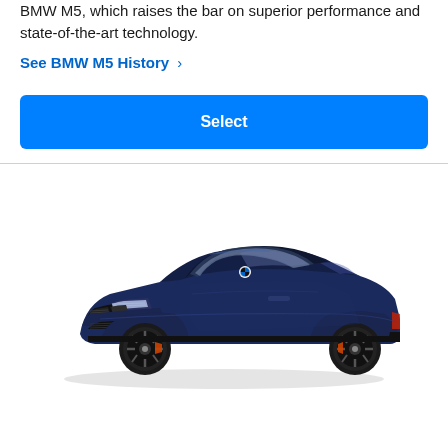BMW M5, which raises the bar on superior performance and state-of-the-art technology.
See BMW M5 History >
Select
[Figure (photo): A dark navy blue BMW M8 coupe photographed from a front three-quarter angle on a white background, featuring black kidney grille, black alloy wheels, and orange brake calipers.]